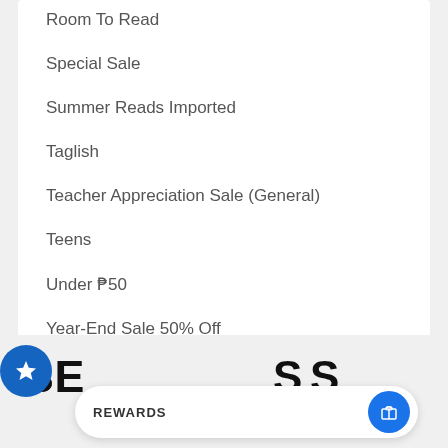Room To Read
Special Sale
Summer Reads Imported
Taglish
Teacher Appreciation Sale (General)
Teens
Under ₱50
Year-End Sale 50% Off
BEST SELLERS
REWARDS